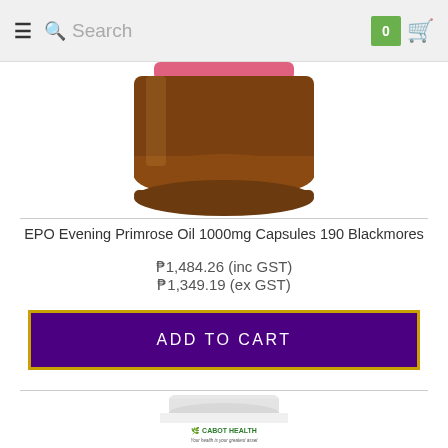Search  0 (cart)
[Figure (photo): Bottom portion of an amber glass supplement bottle with pink cap, cropped — EPO Evening Primrose Oil 1000mg Capsules 190 Blackmores]
EPO Evening Primrose Oil 1000mg Capsules 190 Blackmores
₱1,484.26 (inc GST)
₱1,349.19 (ex GST)
ADD TO CART
[Figure (photo): White supplement bottle labeled Cabot Health Livatone Plus Ultrapotent, showing top portion of the bottle with white cap and label visible]